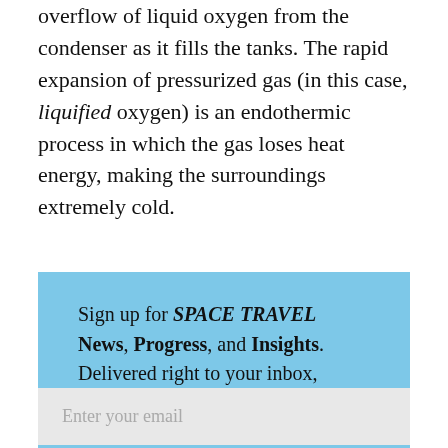overflow of liquid oxygen from the condenser as it fills the tanks. The rapid expansion of pressurized gas (in this case, liquified oxygen) is an endothermic process in which the gas loses heat energy, making the surroundings extremely cold.
Sign up for SPACE TRAVEL News, Progress, and Insights. Delivered right to your inbox, every Monday.
Enter your email